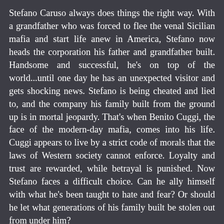Stefano Caruso always does things the right way. With a grandfather who was forced to flee the venal Sicilian mafia and start life anew in America, Stefano now heads the corporation his father and grandfather built. Handsome and successful, he's on top of the world...until one day he has an unexpected visitor and gets shocking news. Stefano is being cheated and lied to, and the company his family built from the ground up is in mortal jeopardy. That's when Benito Cuggi, the face of the modern-day mafia, comes into his life. Cuggi appears to live by a strict code of morals that the laws of Western society cannot enforce. Loyalty and trust are rewarded, while betrayal is punished. Now Stefano faces a difficult choice. Can he ally himself with what he's been taught to hate and fear? Or should he let what generations of his family built be stolen out from under him?